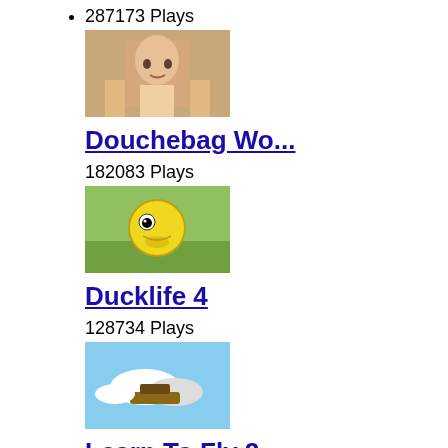287173 Plays
[Figure (illustration): Game thumbnail for Douchebag Workout - person flexing muscles]
Douchebag Wo...
182083 Plays
[Figure (illustration): Game thumbnail for Ducklife 4 - cartoon yellow duck on green background]
Ducklife 4
128734 Plays
[Figure (illustration): Game thumbnail for Learn To Fly 2 - penguin on clouds with sled]
Learn To Fly 2
105268 Plays
[Figure (illustration): Game thumbnail - colorful game scene with hills and balloon]